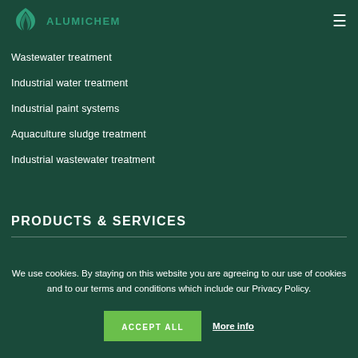ALUMICHEM
Wastewater treatment
Industrial water treatment
Industrial paint systems
Aquaculture sludge treatment
Industrial wastewater treatment
PRODUCTS & SERVICES
We use cookies. By staying on this website you are agreeing to our use of cookies and to our terms and conditions which include our Privacy Policy.
ACCEPT ALL  More info